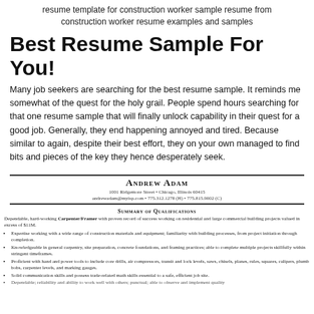resume template for construction worker sample resume from construction worker resume examples and samples
Best Resume Sample For You!
Many job seekers are searching for the best resume sample. It reminds me somewhat of the quest for the holy grail. People spend hours searching for that one resume sample that will finally unlock capability in their quest for a good job. Generally, they end happening annoyed and tired. Because similar to again, despite their best effort, they on your own managed to find bits and pieces of the key they hence desperately seek.
[Figure (other): Sample resume for Andrew Adam, Carpenter/Framer, with contact info, summary of qualifications, and bullet points about expertise.]